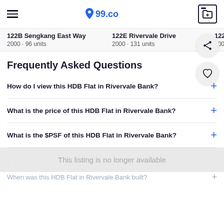99.co
122B Sengkang East Way · 2000 · 96 units | 122E Rivervale Drive · 2000 · 131 units | 122...
Frequently Asked Questions
How do I view this HDB Flat in Rivervale Bank?
What is the price of this HDB Flat in Rivervale Bank?
What is the $PSF of this HDB Flat in Rivervale Bank?
This listing is no longer available
When was this HDB Flat in Rivervale Bank built?